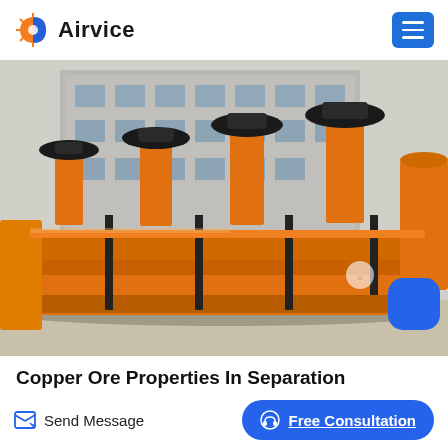Airvice
[Figure (photo): Orange industrial flotation cell / ore separation machine equipment outdoors in a factory yard, with multiple impeller units on top. Background shows a multi-storey industrial building.]
Copper Ore Properties In Separation Processes
Send Message
Free Consultation